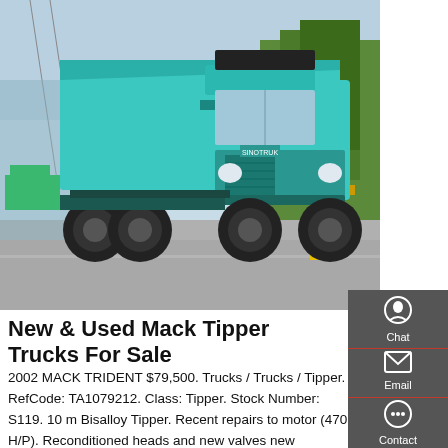[Figure (photo): A teal/cyan colored Mack tipper dump truck photographed on a road, with trees and urban infrastructure visible in the background.]
New & Used Mack Tipper Trucks For Sale
2002 MACK TRIDENT $79,500. Trucks / Trucks / Tipper. RefCode: TA1079212. Class: Tipper. Stock Number: S119. 10 m Bisalloy Tipper. Recent repairs to motor (470 H/P). Reconditioned heads and new valves new injectors throughout. New exhaust system complete, recon drivers seat, recon tarp to body. 18 speed manual gear box. 46/160 Diffs